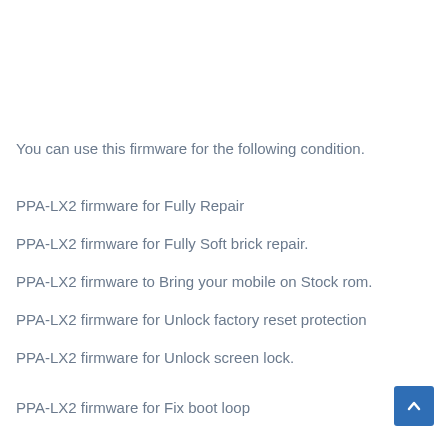You can use this firmware for the following condition.
PPA-LX2 firmware for Fully Repair
PPA-LX2 firmware for Fully Soft brick repair.
PPA-LX2 firmware to Bring your mobile on Stock rom.
PPA-LX2 firmware for Unlock factory reset protection
PPA-LX2 firmware for Unlock screen lock.
PPA-LX2 firmware for Fix boot loop